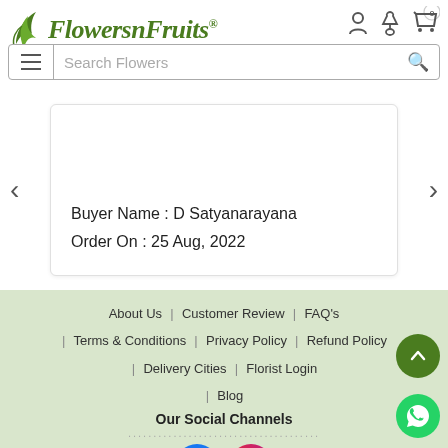[Figure (logo): FlowersnFruits logo with stylized green script text and leaf icon]
[Figure (screenshot): Search bar with hamburger menu icon on left and search magnifying glass on right, placeholder text 'Search Flowers']
Buyer Name : D Satyanarayana
Order On : 25 Aug, 2022
About Us | Customer Review | FAQ's
Terms & Conditions | Privacy Policy | Refund Policy
Delivery Cities | Florist Login
Blog
Our Social Channels
[Figure (logo): Facebook and Instagram social media icons]